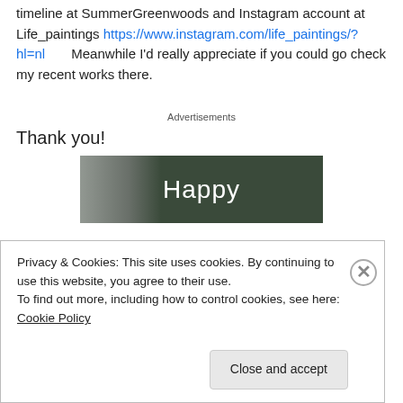timeline at SummerGreenwoods and Instagram account at Life_paintings https://www.instagram.com/life_paintings/?hl=nl   Meanwhile I'd really appreciate if you could go check my recent works there.
Advertisements
Thank you!
[Figure (photo): Partial photo with dark greenish background and white text reading 'Happy']
Privacy & Cookies: This site uses cookies. By continuing to use this website, you agree to their use.
To find out more, including how to control cookies, see here: Cookie Policy